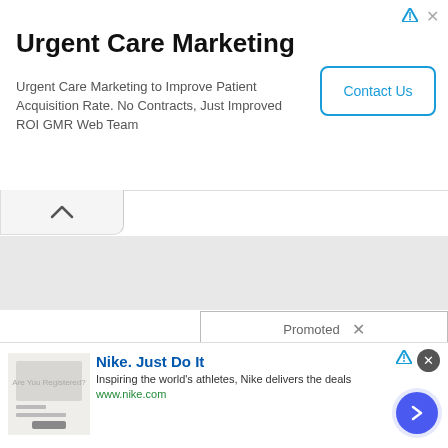Urgent Care Marketing
Urgent Care Marketing to Improve Patient Acquisition Rate. No Contracts, Just Improved ROI GMR Web Team
Contact Us
[Figure (screenshot): Collapse/up-chevron button area]
Promoted X
[Figure (photo): Group of men in suits at CIA headquarters with one person circled in red and a video play button overlay]
Biden Probably Wants
[Figure (photo): Medical illustration showing internal organ anatomy (pancreas/digestive organs)]
Why Doctors In The Know
Nike. Just Do It
Inspiring the world's athletes, Nike delivers the deals
www.nike.com